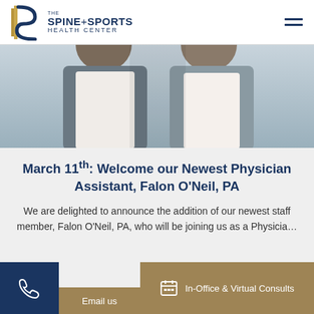THE SPINE+SPORTS HEALTH CENTER
[Figure (photo): Two women in business attire, cropped at shoulder/neck level, serving as a staff photo banner]
March 11th: Welcome our Newest Physician Assistant, Falon O'Neil, PA
We are delighted to announce the addition of our newest staff member, Falon O'Neil, PA, who will be joining us as a Physicia...
In-Office & Virtual Consults
Email us